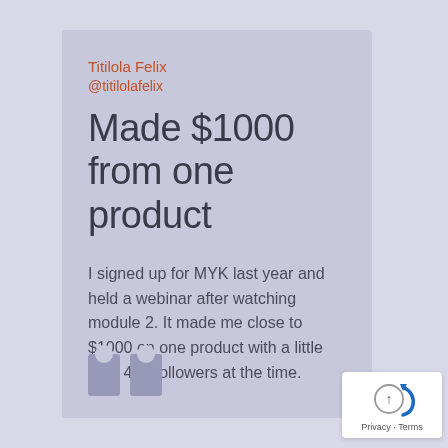Titilola Felix
@titilolafelix
Made $1000 from one product
I signed up for MYK last year and held a webinar after watching module 2. It made me close to $1000 on one product with a little over 400 followers at the time.
[Figure (illustration): Large stylized quotation mark in muted purple/lavender color at bottom left of card]
[Figure (illustration): Privacy badge overlay with circular arrow button and Privacy · Terms text in bottom right corner]